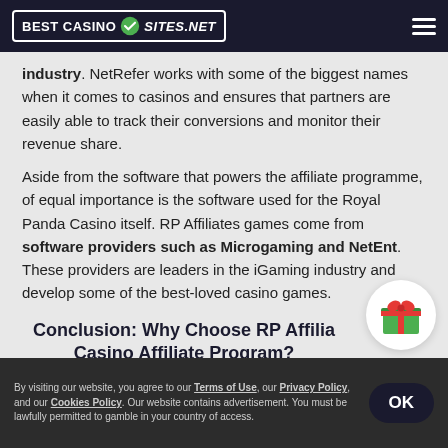BEST CASINO SITES.NET
industry. NetRefer works with some of the biggest names when it comes to casinos and ensures that partners are easily able to track their conversions and monitor their revenue share.
Aside from the software that powers the affiliate programme, of equal importance is the software used for the Royal Panda Casino itself. RP Affiliates games come from software providers such as Microgaming and NetEnt. These providers are leaders in the iGaming industry and develop some of the best-loved casino games.
Conclusion: Why Choose RP Affiliates Casino Affiliate Program?
By visiting our website, you agree to our Terms of Use, our Privacy Policy, and our Cookies Policy. Our website contains advertisement. You must be lawfully permitted to gamble in your country of access.